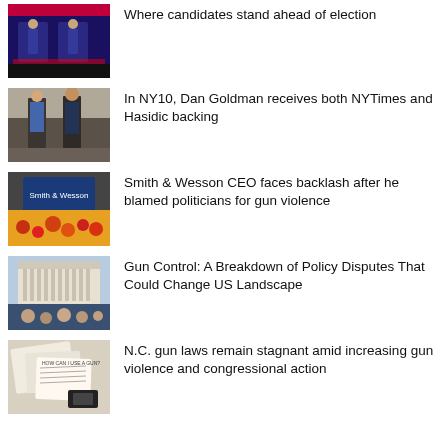[Figure (photo): TV debate stage with purple backdrop and candidates]
Where candidates stand ahead of election
[Figure (photo): Two men standing outside a building on a city street]
In NY10, Dan Goldman receives both NYTimes and Hasidic backing
[Figure (photo): Smith & Wesson sign with crowd of protesters in front]
Smith & Wesson CEO faces backlash after he blamed politicians for gun violence
[Figure (photo): Crowd gathered in front of a large neoclassical building]
Gun Control: A Breakdown of Policy Disputes That Could Change US Landscape
[Figure (photo): Documents and papers on a surface with handwritten text]
N.C. gun laws remain stagnant amid increasing gun violence and congressional action